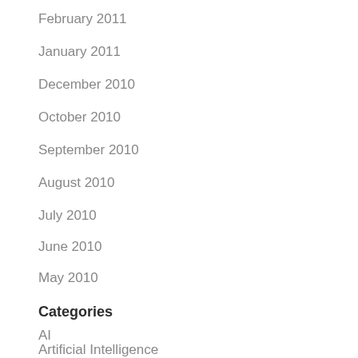February 2011
January 2011
December 2010
October 2010
September 2010
August 2010
July 2010
June 2010
May 2010
Categories
AI
Artificial Intelligence